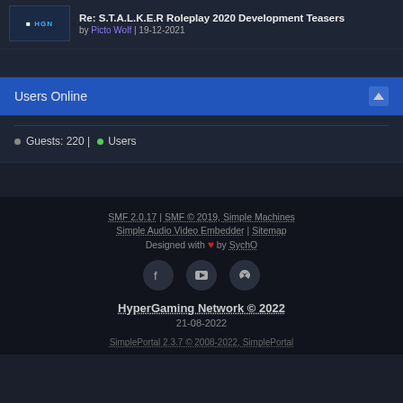Re: S.T.A.L.K.E.R Roleplay 2020 Development Teasers by Picto Wolf | 19-12-2021
Users Online
Guests: 220 | Users
SMF 2.0.17 | SMF © 2019, Simple Machines | Simple Audio Video Embedder | Sitemap | Designed with ❤ by SychO | HyperGaming Network © 2022 | 21-08-2022 | SimplePortal 2.3.7 © 2008-2022, SimplePortal